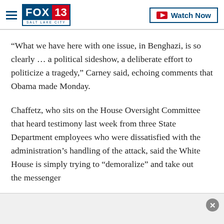[Figure (logo): FOX 13 Salt Lake City logo with hamburger menu and Watch Now button]
“What we have here with one issue, in Benghazi, is so clearly … a political sideshow, a deliberate effort to politicize a tragedy,” Carney said, echoing comments that Obama made Monday.
Chaffetz, who sits on the House Oversight Committee that heard testimony last week from three State Department employees who were dissatisfied with the administration’s handling of the attack, said the White House is simply trying to “demoralize” and take out the messenger.